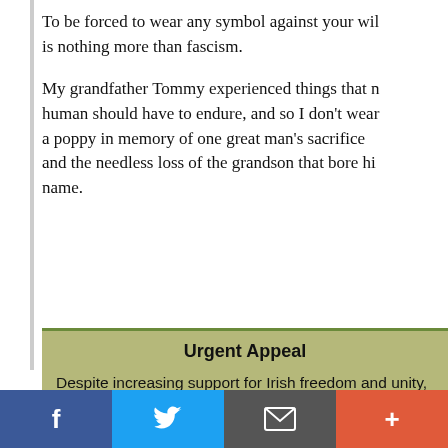To be forced to wear any symbol against your will is nothing more than fascism.
My grandfather Tommy experienced things that no human should have to endure, and so I don't wear a poppy in memory of one great man's sacrifice and the needless loss of the grandson that bore his name.
Urgent Appeal
Despite increasing support for Irish freedom and unity, we need your help to overcome British and unionist intransigence. We can end the denial of our rights in relation to Brexit, the Irish language, a border poll and legacy issues with your support.
Please support IRN now to help us continue reporting
f  [Twitter bird]  [envelope]  +